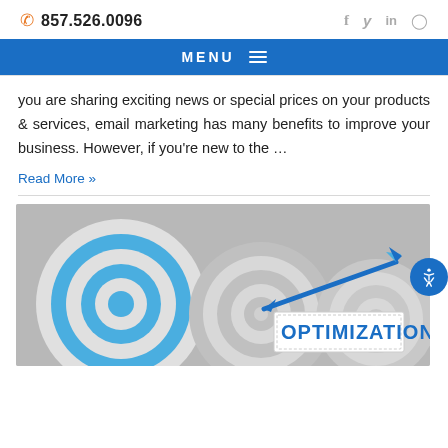857.526.0096  f  y  in  Instagram icon  MENU
you are sharing exciting news or special prices on your products & services, email marketing has many benefits to improve your business. However, if you're new to the …
Read More »
[Figure (photo): Bullseye targets (archery boards) with blue and white rings. A blue arrow hits one of the targets which has a sign reading 'OPTIMIZATION'. Multiple overlapping circular targets in background.]